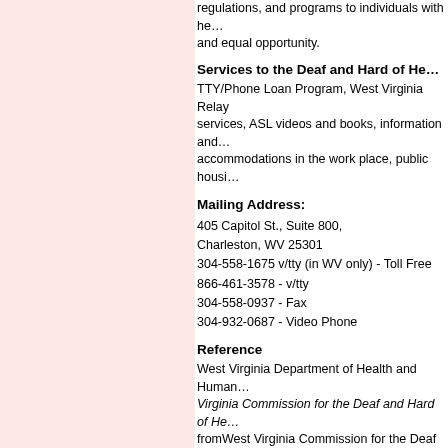regulations, and programs to individuals with he… and equal opportunity.
Services to the Deaf and Hard of He…
TTY/Phone Loan Program, West Virginia Relay services, ASL videos and books, information and… accommodations in the work place, public housi…
Mailing Address:
405 Capitol St., Suite 800,
Charleston, WV 25301
304-558-1675 v/tty (in WV only) - Toll Free
866-461-3578 - v/tty
304-558-0937 - Fax
304-932-0687 - Video Phone
Reference
West Virginia Department of Health and Human… Virginia Commission for the Deaf and Hard of He… fromWest Virginia Commission for the Deaf and…
The Western United States
Alaska:
Organization: The Alaska Dea… Hearing, and Deaf-Blind Coun…
Website: